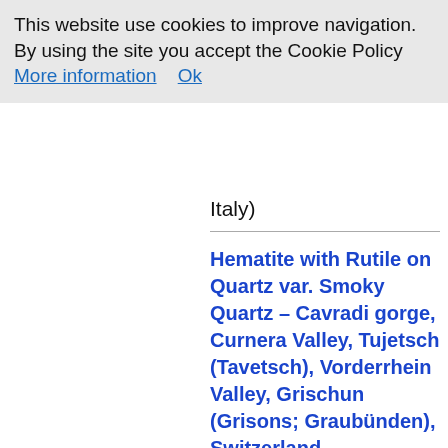This website use cookies to improve navigation. By using the site you accept the Cookie Policy  More information    Ok
Italy)
Hematite with Rutile on Quartz var. Smoky Quartz – Cavradi gorge, Curnera Valley, Tujetsch (Tavetsch), Vorderrhein Valley, Grischun (Grisons; Graubünden), Switzerland (#BALD0338)
Nice Hematite's crystal, with some smaller, very shiny, well defined, whole, developed on a gemmy and extremely glossy 53 mm Smoky Quartz's